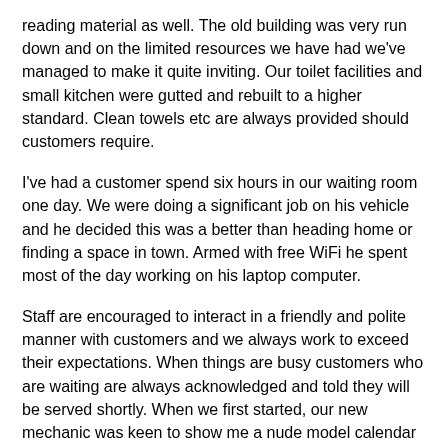reading material as well. The old building was very run down and on the limited resources we have had we've managed to make it quite inviting. Our toilet facilities and small kitchen were gutted and rebuilt to a higher standard. Clean towels etc are always provided should customers require.
I've had a customer spend six hours in our waiting room one day. We were doing a significant job on his vehicle and he decided this was a better than heading home or finding a space in town. Armed with free WiFi he spent most of the day working on his laptop computer.
Staff are encouraged to interact in a friendly and polite manner with customers and we always work to exceed their expectations. When things are busy customers who are waiting are always acknowledged and told they will be served shortly. When we first started, our new mechanic was keen to show me a nude model calendar displayed in the workshop. He might have got away with it in 1975 but we needed to talk carefully about what the expectations of our business in 2015 were. It is no surprise to me that this staff member is no longer working for us. Unfortunately there are still some negative attitudes to